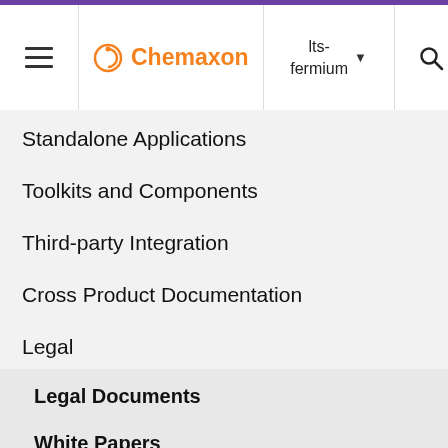[Figure (screenshot): Chemaxon website navigation header with hamburger menu, Chemaxon logo in orange, version selector showing 'lts-fermium' with dropdown arrow, and search icon]
Standalone Applications
Toolkits and Components
Third-party Integration
Cross Product Documentation
Legal
Legal Documents
White Papers
Chemicalize Security White Paper
Hosted Services Security White ...
emplo by Chem to ensure the securi of inform when reside ithin being